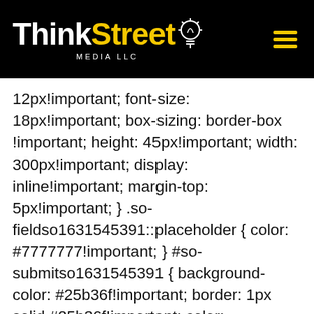ThinkStreet MEDIA LLC
12px!important; font-size: 18px!important; box-sizing: border-box !important; height: 45px!important; width: 300px!important; display: inline!important; margin-top: 5px!important; } .so-fieldso1631545391::placeholder { color: #7777777!important; } #so-submitso1631545391 { background-color: #25b36f!important; border: 1px solid #25b36f!important; color: #ffffff!important; border-radius: 4px !important; text-decoration: none!important; cursor: